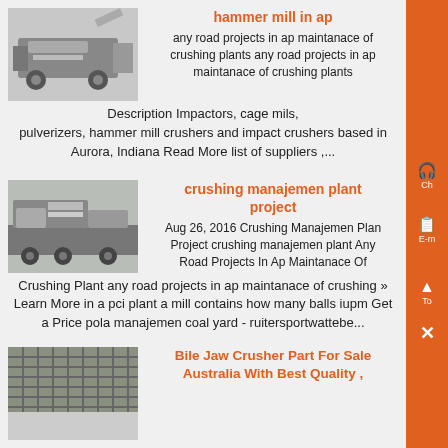hammer mill in ap
any road projects in ap maintanace of crushing plants any road projects in ap maintanace of crushing plants Description Impactors, cage mils, pulverizers, hammer mill crushers and impact crushers based in Aurora, Indiana Read More list of suppliers ,...
[Figure (photo): Industrial mobile crushing/screening machine]
crushing manajemen plant project
[Figure (photo): Mobile crushing plant on flatbed trailer]
Aug 26, 2016 Crushing Manajemen Plan Project crushing manajemen plant Any Road Projects In Ap Maintanace Of Crushing Plant any road projects in ap maintanace of crushing » Learn More in a pci plant a mill contains how many balls iupm Get a Price pola manajemen coal yard - ruitersportwattebe...
Bile Jaw Crusher Part For Sale Australia With Best Quality ,
[Figure (photo): Metal grid/grate surface close-up]